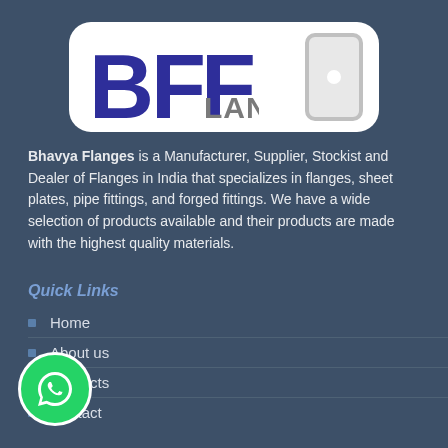[Figure (logo): BFF Flanges company logo — large stylized 'BF' letters in dark blue on white rounded rectangle badge, with 'LANGES' text in grey and a phone icon on the right side]
Bhavya Flanges is a Manufacturer, Supplier, Stockist and Dealer of Flanges in India that specializes in flanges, sheet plates, pipe fittings, and forged fittings. We have a wide selection of products available and their products are made with the highest quality materials.
Quick Links
Home
About us
Products
Contact
[Figure (logo): WhatsApp green circular button with white phone handset icon]